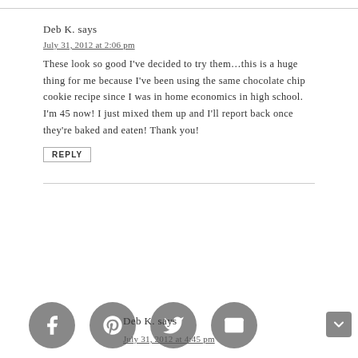Deb K. says
July 31, 2012 at 2:06 pm
These look so good I've decided to try them…this is a huge thing for me because I've been using the same chocolate chip cookie recipe since I was in home economics in high school. I'm 45 now! I just mixed them up and I'll report back once they're baked and eaten! Thank you!
REPLY
Deb K. says
July 31, 2012 at 4:45 pm